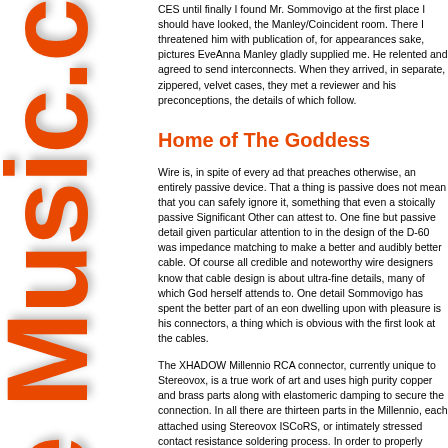CES until finally I found Mr. Sommovigo at the first place I should have looked, the Manley/Coincident room. There I threatened him with publication of, for appearances sake, pictures EveAnna Manley gladly supplied me. He relented and agreed to send interconnects. When they arrived, in separate, zippered, velvet cases, they met a reviewer and his preconceptions, the details of which follow.
Home of The Goddess
Wire is, in spite of every ad that preaches otherwise, an entirely passive device. That a thing is passive does not mean that you can safely ignore it, something that even a stoically passive Significant Other can attest to. One fine but passive detail given particular attention to in the design of the D-60 was impedance matching to make a better and audibly better cable. Of course all credible and noteworthy wire designers know that cable design is about ultra-fine details, many of which God herself attends to. One detail Sommovigo has spent the better part of an eon dwelling upon with pleasure is his connectors, a thing which is obvious with the first look at the cables.
The XHADOW Millennio RCA connector, currently unique to Stereovox, is a true work of art and uses high purity copper and brass parts along with elastomeric damping to secure the connection. In all there are thirteen parts in the Millennio, each attached using Stereovox ISCoRS, or intimately stressed contact resistance soldering process. In order to properly intimately stress a piece of copper, Mr. Sommovigo maintains that he must do a single soldering operation, avoids subjecting the constituent parts to the damage of heat. This concern led also Mr. Sommovigo to develop his own low-melt solder that flows at 554 degrees F or about 290 degrees for those of us metrically challenged. When all is done, what appears to my eye, is a very stylish connector, one that Stereovox claims to be...